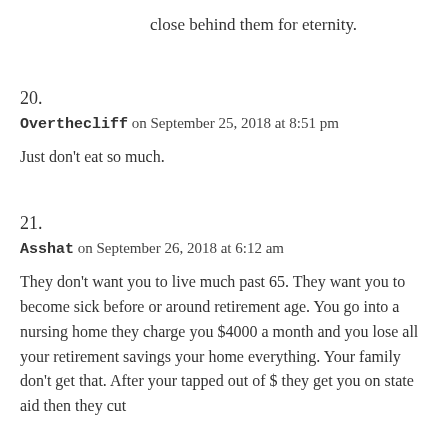close behind them for eternity.
20.
Overthecliff on September 25, 2018 at 8:51 pm
Just don't eat so much.
21.
Asshat on September 26, 2018 at 6:12 am
They don't want you to live much past 65. They want you to become sick before or around retirement age. You go into a nursing home they charge you $4000 a month and you lose all your retirement savings your home everything. Your family don't get that. After your tapped out of $ they get you on state aid then they cut back on care and services, still die pretty they all leave and